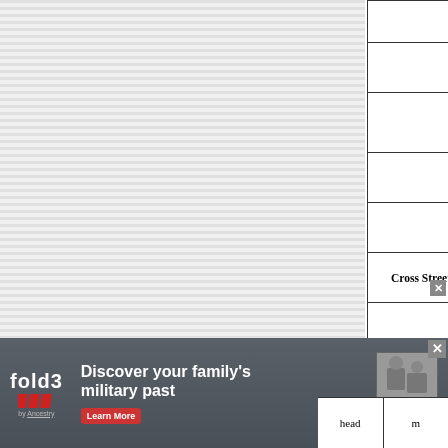| [column1] | Name | Relationship | [column4] |
| --- | --- | --- | --- |
|  | Rachel Eckersly | wife |  |
|  | Thomas Eckersly | son |  |
|  | John Wesley Eckersly | son |  |
|  | Sarah Eckersly | dtr |  |
|  |  |  |  |
| Cross Street | Robert Atkinson | head |  |
|  | Betty Atkinson | wife |  |
|  |  |  |  |
| 5 houses building |  |  |  |
| 1 uninhabited |  |  |  |
[Figure (other): Fold3 by Ancestry advertisement banner: 'Discover your family's military past - Learn More' with soldiers photo]